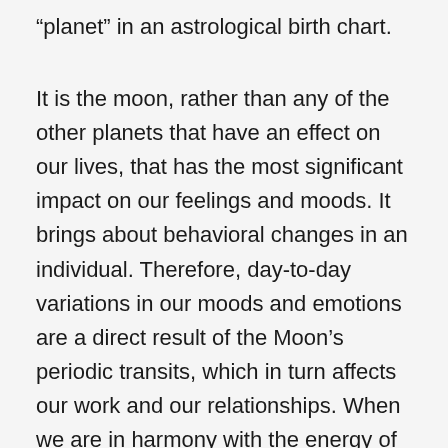“planet” in an astrological birth chart.
It is the moon, rather than any of the other planets that have an effect on our lives, that has the most significant impact on our feelings and moods. It brings about behavioral changes in an individual. Therefore, day-to-day variations in our moods and emotions are a direct result of the Moon’s periodic transits, which in turn affects our work and our relationships. When we are in harmony with the energy of the moon, we are at our most enthusiastic and on our best behavior. These days prove to be lucky for anyone who plans to begin a relationship, go for an interview, apply for a promotion, or do any number of other things along those lines. The true daily horoscopes are calculated based on which house the moon is currently transiting for the native’s astrological